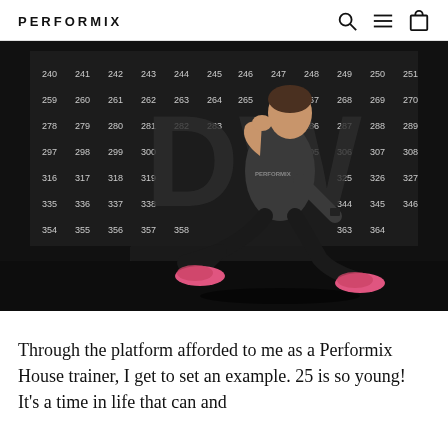PERFORMIX
[Figure (photo): A male fitness trainer wearing a dark Performix t-shirt and black shorts with pink athletic shoes performs a lunge exercise on a black box. The background is a dark wall covered with numbered squares (240-369 range visible). The setting is a gym environment.]
Through the platform afforded to me as a Performix House trainer, I get to set an example. 25 is so young! It's a time in life that can and